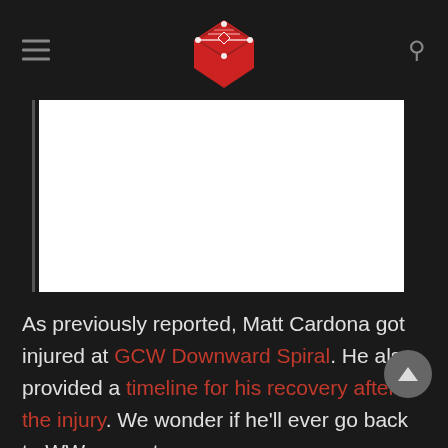Wrestling news site header with logo, hamburger menu, and search icon
[Figure (other): White rectangle advertisement placeholder with left border accent]
As previously reported, Matt Cardona got injured at GCW Downward Spiral. He also provided a timeline for his recovery after the injury. We wonder if he'll ever go back to WWE or not.